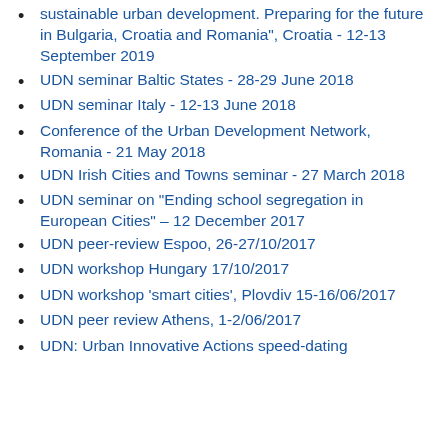sustainable urban development. Preparing for the future in Bulgaria, Croatia and Romania", Croatia - 12-13 September 2019
UDN seminar Baltic States - 28-29 June 2018
UDN seminar Italy - 12-13 June 2018
Conference of the Urban Development Network, Romania - 21 May 2018
UDN Irish Cities and Towns seminar - 27 March 2018
UDN seminar on "Ending school segregation in European Cities" – 12 December 2017
UDN peer-review Espoo, 26-27/10/2017
UDN workshop Hungary 17/10/2017
UDN workshop 'smart cities', Plovdiv 15-16/06/2017
UDN peer review Athens, 1-2/06/2017
UDN: Urban Innovative Actions speed-dating